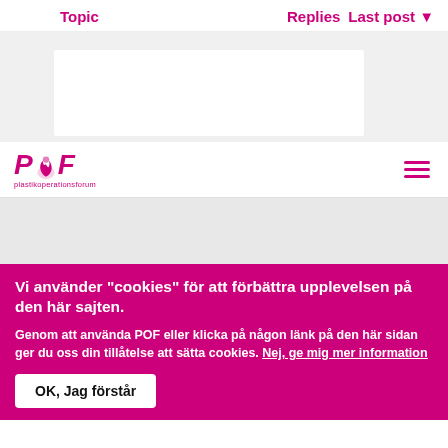Topic    Replies    Last post
[Figure (screenshot): White content area with a white box/card placeholder on a light grey background]
[Figure (logo): POF plastikoperationsforum logo in magenta/pink with flame icon]
Vi använder "cookies" för att förbättra upplevelsen på den här sajten.
Genom att använda POF eller klicka på någon länk på den här sidan ger du oss din tillåtelse att sätta cookies. Nej, ge mig mer information
OK, Jag förstår